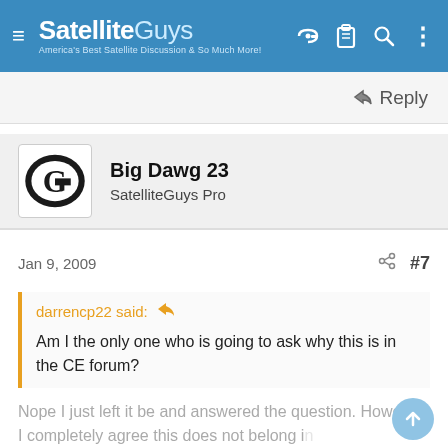SatelliteGuys - America's Best Satellite Discussion & So Much More!
Reply
Big Dawg 23
SatelliteGuys Pro
Jan 9, 2009  #7
darrencp22 said: Am I the only one who is going to ask why this is in the CE forum?
Nope I just left it be and answered the question. However, I completely agree this does not belong in